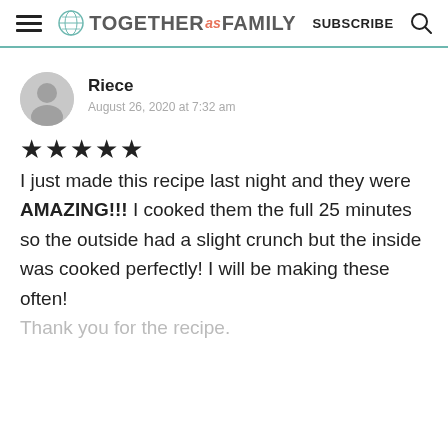TOGETHER as FAMILY | SUBSCRIBE
Riece
August 26, 2020 at 7:32 am
★★★★★
I just made this recipe last night and they were AMAZING!!! I cooked them the full 25 minutes so the outside had a slight crunch but the inside was cooked perfectly! I will be making these often! Thank you for the recipe.